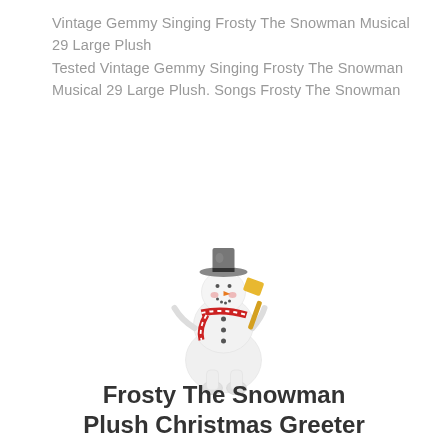Vintage Gemmy Singing Frosty The Snowman Musical 29 Large Plush
Tested Vintage Gemmy Singing Frosty The Snowman Musical 29 Large Plush. Songs Frosty The Snowman
[Figure (photo): A white plush snowman figure wearing a grey/black top hat, red and white striped scarf, and holding a yellow/orange shovel. The snowman has an orange carrot nose and a cheerful expression.]
Frosty The Snowman Plush Christmas Greeter